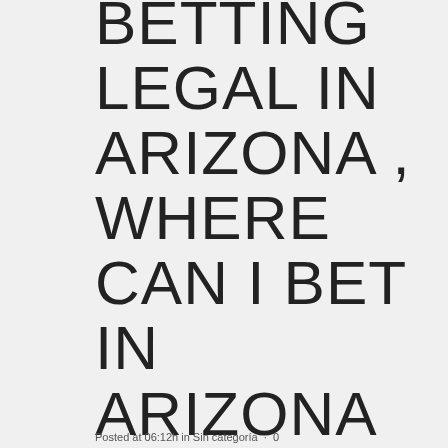BETTING LEGAL IN ARIZONA , WHERE CAN I BET IN ARIZONA WITH EXPERTPICKS COM
Posted at 06:12h in Sin categoría · 0